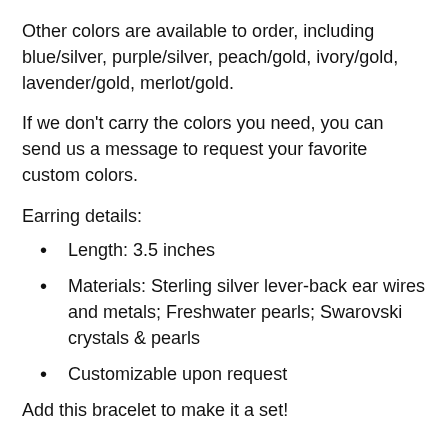Other colors are available to order, including blue/silver, purple/silver, peach/gold, ivory/gold, lavender/gold, merlot/gold.
If we don't carry the colors you need, you can send us a message to request your favorite custom colors.
Earring details:
Length: 3.5 inches
Materials: Sterling silver lever-back ear wires and metals; Freshwater pearls; Swarovski crystals & pearls
Customizable upon request
Add this bracelet to make it a set!